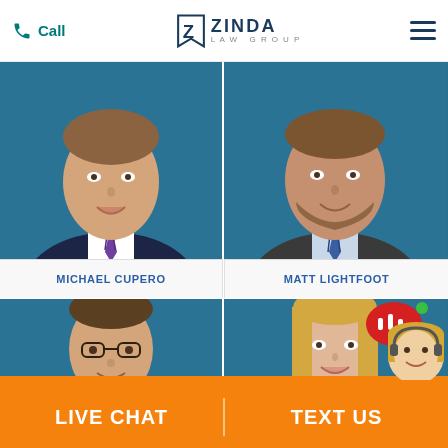Call | ZINDA LAW GROUP | menu
[Figure (photo): Professional headshot of Michael Cupero, young male attorney in dark suit and striped tie, blue background]
MICHAEL CUPERO
[Figure (photo): Professional headshot of Matt Lightfoot, male attorney with beard in gray suit and blue striped tie, blue background]
MATT LIGHTFOOT
[Figure (photo): Professional headshot of John Harper, male attorney with glasses in dark suit and brown tie, blue background]
JOHN HARPER
[Figure (photo): Professional headshot of Christina Rosendahl, female attorney with long blonde hair in dark patterned top, blue background]
CHRISTINA ROSENDAHL
[Figure (photo): Live chat widget showing a blonde female customer service representative with headset and speech bubble with bars icon]
LIVE CHAT | TEXT US